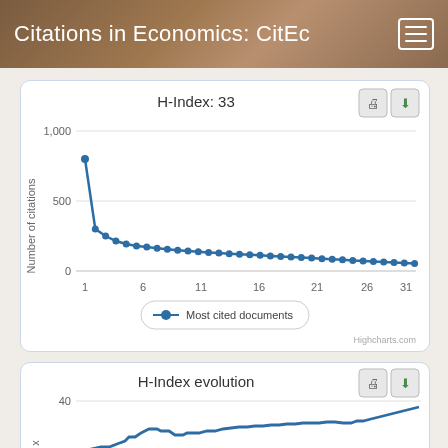Citations in Economics: CitEc
[Figure (continuous-plot): Scatter/line plot of number of citations vs ranked document index. Shows a steep drop from ~800 citations at rank 1 down to near 0 by rank 33+. Dots mark each ranked document. Y-axis: Number of citations (0, 500, 1000). X-axis: rank 1 to ~33. Legend: Most cited documents.]
[Figure (continuous-plot): Line chart showing H-Index evolution over time. The line starts around 20, rises with a step-like pattern up to about 33. Y-axis goes to 40. Partial view — chart is cut off.]